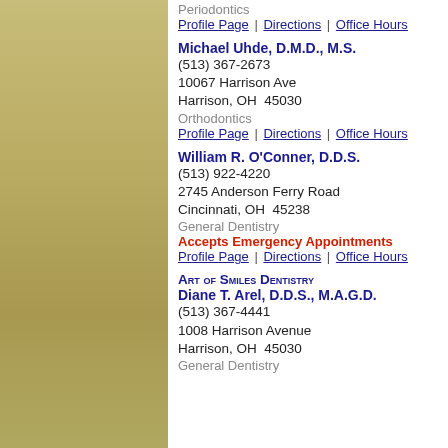Periodontics
Profile Page | Directions | Office Hours
Michael Uhde, D.M.D., M.S.
(513) 367-2673
10067 Harrison Ave
Harrison, OH  45030
Orthodontics
Profile Page | Directions | Office Hours
William R. O'Conner, D.D.S.
(513) 922-4220
2745 Anderson Ferry Road
Cincinnati, OH  45238
General Dentistry
Accepts Emergency Appointments
Profile Page | Directions | Office Hours
Art of Smiles Dentistry
Diane T. Arel, D.D.S., M.A.G.D.
(513) 367-4441
1008 Harrison Avenue
Harrison, OH  45030
General Dentistry